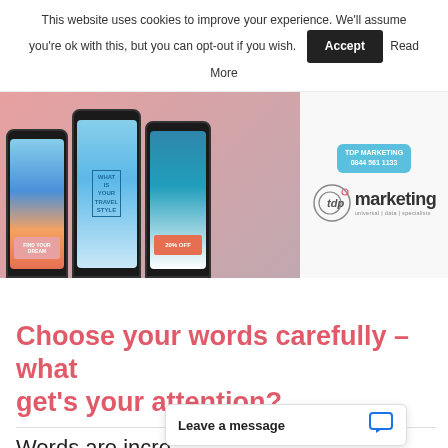This website uses cookies to improve your experience. We'll assume you're ok with this, but you can opt-out if you wish. Accept Read More
[Figure (photo): Marketing website hero image showing multiple smartphone mockups with travel-themed app screens on a pink/mauve background, alongside a TDP Marketing logo with phone number 0844 561 1133 shown in a blue chat bubble]
Choose your words carefully – what get's your attention?
Words are incre